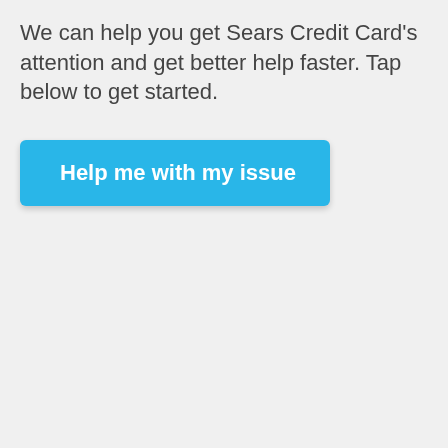We can help you get Sears Credit Card's attention and get better help faster. Tap below to get started.
[Figure (screenshot): A blue button labeled 'Help me with my issue']